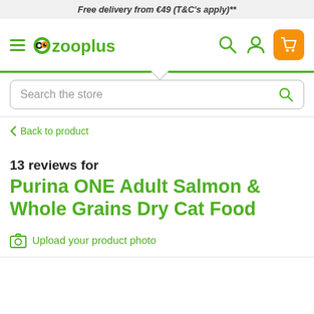Free delivery from €49 (T&C's apply)**
[Figure (logo): Zooplus logo with hamburger menu, search icon, user icon, and orange cart button]
Search the store
< Back to product
13 reviews for
Purina ONE Adult Salmon & Whole Grains Dry Cat Food
Upload your product photo